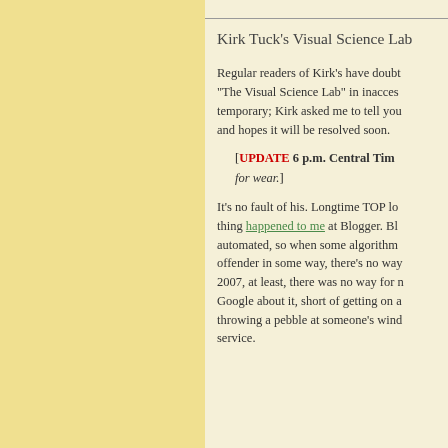Kirk Tuck's Visual Science Lab
Regular readers of Kirk's have doubt "The Visual Science Lab" in inacces temporary; Kirk asked me to tell you and hopes it will be resolved soon.
[UPDATE 6 p.m. Central Tim for wear.]
It's no fault of his. Longtime TOP lo thing happened to me at Blogger. Bl automated, so when some algorithm offender in some way, there's no way 2007, at least, there was no way for Google about it, short of getting on a throwing a pebble at someone's wind service.